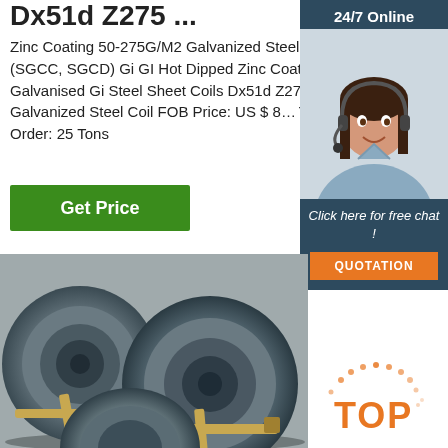Dx51d Z275 ...
Zinc Coating 50-275G/M2 Galvanized Steel Sheet (SGCC, SGCD) Gi GI Hot Dipped Zinc Coated Galvanised Gi Steel Sheet Coils Dx51d Z275 Galvanized Steel Coil FOB Price: US $ 8... Ton Min. Order: 25 Tons
[Figure (screenshot): Green 'Get Price' button]
[Figure (infographic): 24/7 Online customer support chat widget with agent photo, 'Click here for free chat!' text, and orange QUOTATION button on dark blue background]
[Figure (photo): Photo of stacked steel coils/rolls bound with metal straps]